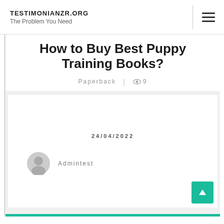TESTIMONIANZR.ORG
The Problem You Need
How to Buy Best Puppy Training Books?
Paperback | 👁 9
24/04/2022
Admintest